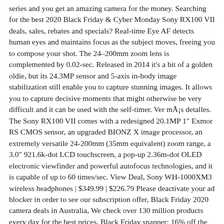series and you get an amazing camera for the money. Searching for the best 2020 Black Friday & Cyber Monday Sony RX100 VII deals, sales, rebates and specials? Real-time Eye AF detects human eyes and maintains focus as the subject moves, freeing you to compose your shot. The 24–200mm zoom lens is complemented by 0.02-sec. Released in 2014 it's a bit of a golden oldie, but its 24.3MP sensor and 5-axis in-body image stabilization still enable you to capture stunning images. It allows you to capture decisive moments that might otherwise be very difficult and it can be used with the self-timer. Ver más detalles. The Sony RX100 VII comes with a redesigned 20.1MP 1″ Exmor RS CMOS sensor, an upgraded BIONZ X image processor, an extremely versatile 24-200mm (35mm equivalent) zoom range, a 3.0″ 921.6k-dot LCD touchscreen, a pop-up 2.36m-dot OLED electronic viewfinder and powerful autofocus technologies, and it is capable of up to 60 times/sec. View Deal, Sony WH-1000XM3 wireless headphones | $349.99 | $226.79 Please deactivate your ad blocker in order to see our subscription offer, Black Friday 2020 camera deals in Australia, We check over 130 million products every day for the best prices, Black Friday snapper: 16% off the Canon EOS R6 full-frame mirrorless marvel, Dive deep into the ocean with these stunning underwater photographs, Don McCullin biopic will be directed by Angelina Jolie and star Tom Hardy. • Amazon Black Friday camera deals Every issue comes packed with expert advice, in-depth tutorials, free gifts and inspirational images. These are